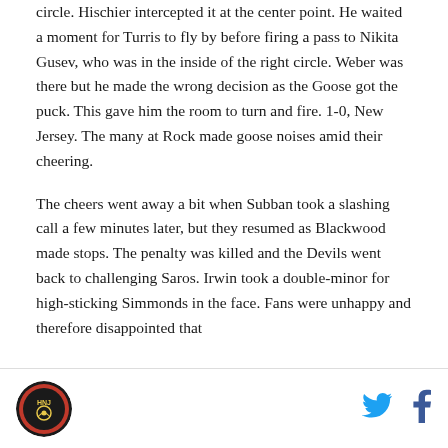circle. Hischier intercepted it at the center point. He waited a moment for Turris to fly by before firing a pass to Nikita Gusev, who was in the inside of the right circle. Weber was there but he made the wrong decision as the Goose got the puck. This gave him the room to turn and fire. 1-0, New Jersey. The many at Rock made goose noises amid their cheering.
The cheers went away a bit when Subban took a slashing call a few minutes later, but they resumed as Blackwood made stops. The penalty was killed and the Devils went back to challenging Saros. Irwin took a double-minor for high-sticking Simmonds in the face. Fans were unhappy and therefore disappointed that
HNJ logo | Twitter | Facebook